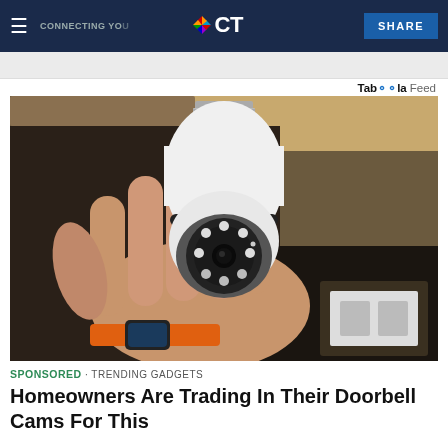NBC CT — CONNECTING YOU — SHARE
Taboola Feed
[Figure (photo): A hand holding a white security camera shaped like a light bulb with a screw base at the top, showing multiple LED lights around the lens. Background shows shelving/boxes.]
SPONSORED · TRENDING GADGETS
Homeowners Are Trading In Their Doorbell Cams For This